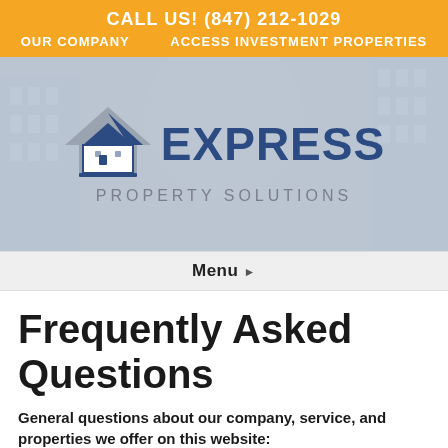CALL US! (847) 212-1029
OUR COMPANY   ACCESS INVESTMENT PROPERTIES
[Figure (logo): Express Property Solutions logo with house icon in blue and gray, company name in bold blue and gray text on a faded building background]
Menu ▸
Frequently Asked Questions
General questions about our company, service, and properties we offer on this website: